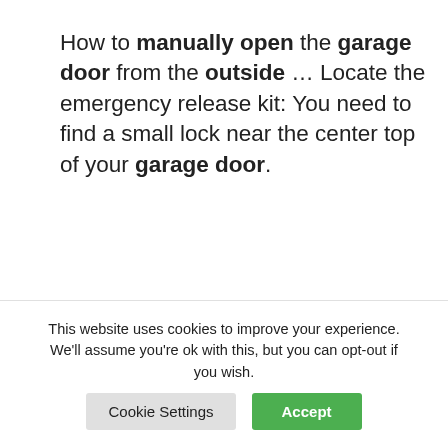How to manually open the garage door from the outside … Locate the emergency release kit: You need to find a small lock near the center top of your garage door.
How to Open Garage Door During Power Outage | Garage Door …
26 Feb 2019 … From the outside: · Locate the emergency key release on the outside of your garage door
This website uses cookies to improve your experience. We'll assume you're ok with this, but you can opt-out if you wish.